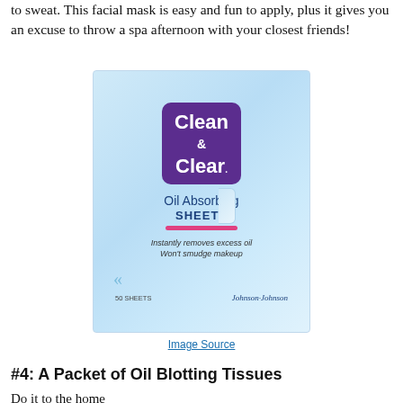to sweat. This facial mask is easy and fun to apply, plus it gives you an excuse to throw a spa afternoon with your closest friends!
[Figure (photo): Clean & Clear Oil Absorbing Sheets product packaging — a light blue packet with purple brand logo, showing product name, features 'Instantly removes excess oil, Won't smudge makeup', 50 sheets, Johnson & Johnson branding.]
Image Source
#4: A Packet of Oil Blotting Tissues
Do it to the home